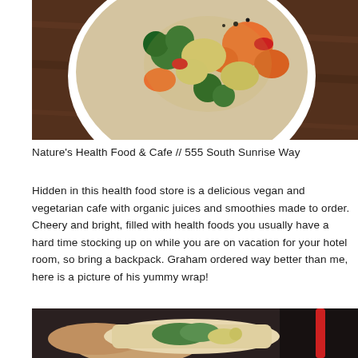[Figure (photo): Overhead photo of a white bowl filled with colorful cooked vegetables including carrots, broccoli, cauliflower, and other vegetables, sitting on a dark wooden surface.]
Nature's Health Food & Cafe // 555 South Sunrise Way
Hidden in this health food store is a delicious vegan and vegetarian cafe with organic juices and smoothies made to order. Cheery and bright, filled with health foods you usually have a hard time stocking up on while you are on vacation for your hotel room, so bring a backpack. Graham ordered way better than me, here is a picture of his yummy wrap!
[Figure (photo): Close-up photo of hands holding a wrap/burrito with visible green vegetables and cauliflower inside, with a red straw visible on the right side.]